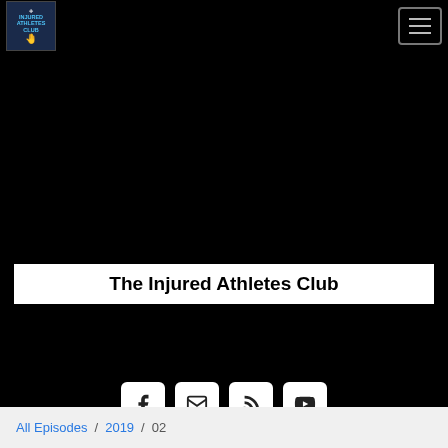[Figure (logo): Injured Athletes Club logo with cross icon and blue text on dark background]
[Figure (screenshot): Navigation hamburger menu button (three horizontal lines) on black background]
[Figure (photo): Large black hero image area]
The Injured Athletes Club
[Figure (infographic): Social media link buttons: Facebook, Email, RSS feed, YouTube on black background]
All Episodes / 2019 / 02